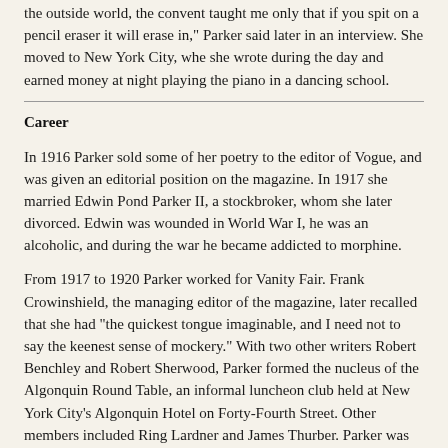the outside world, the convent taught me only that if you spit on a pencil eraser it will erase in," Parker said later in an interview. She moved to New York City, whe she wrote during the day and earned money at night playing the piano in a dancing school.
Career
In 1916 Parker sold some of her poetry to the editor of Vogue, and was given an editorial position on the magazine. In 1917 she married Edwin Pond Parker II, a stockbroker, whom she later divorced. Edwin was wounded in World War I, he was an alcoholic, and during the war he became addicted to morphine.
From 1917 to 1920 Parker worked for Vanity Fair. Frank Crowinshield, the managing editor of the magazine, later recalled that she had "the quickest tongue imaginable, and I need not to say the keenest sense of mockery." With two other writers Robert Benchley and Robert Sherwood, Parker formed the nucleus of the Algonquin Round Table, an informal luncheon club held at New York City's Algonquin Hotel on Forty-Fourth Street. Other members included Ring Lardner and James Thurber. Parker was usually the only woman in the group. Alan Rudolph's film Mrs. Parker and the Vicious Circle (1994), starring Jennifer Jason Leigh, Campbell Scott, Matthew Broderick, depicted the life of the author and her friends around the famous Algonquin Round Table.
Between the years 1927 and 1933 Parker wrote book reviews for The New Yorker. Her texts continued appear in the magazine at irregular intervals until 1955. Parker's first collection of poems, Enough Rope, was published in 1926. It contained the often-quoted 'Résumé' on suicide, and 'News Item'.